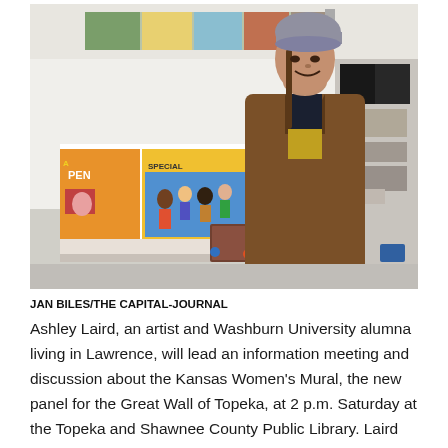[Figure (photo): A woman wearing a brown coat and grey knit beanie stands in what appears to be an art studio or gallery space. Behind her are colorful murals and painted panels displayed on a white wall or table. The space has an open, workshop-like feel.]
JAN BILES/THE CAPITAL-JOURNAL
Ashley Laird, an artist and Washburn University alumna living in Lawrence, will lead an information meeting and discussion about the Kansas Women's Mural, the new panel for the Great Wall of Topeka, at 2 p.m. Saturday at the Topeka and Shawnee County Public Library. Laird also will talk about her previous work and the community-based